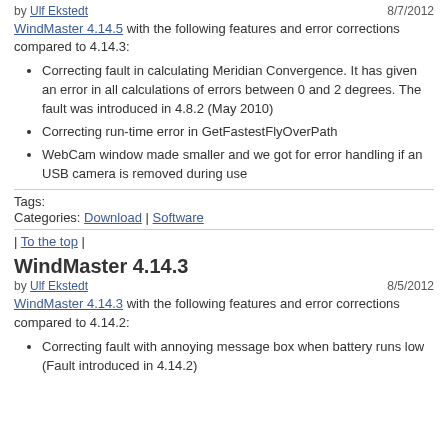by Ulf Ekstedt  8/7/2012
WindMaster 4.14.5 with the following features and error corrections compared to 4.14.3:
Correcting fault in calculating Meridian Convergence. It has given an error in all calculations of errors between 0 and 2 degrees. The fault was introduced in 4.8.2 (May 2010)
Correcting run-time error in GetFastestFlyOverPath
WebCam window made smaller and we got for error handling if an USB camera is removed during use
Tags:
Categories: Download | Software
| To the top |
WindMaster 4.14.3
by Ulf Ekstedt  8/5/2012
WindMaster 4.14.3 with the following features and error corrections compared to 4.14.2:
Correcting fault with annoying message box when battery runs low (Fault introduced in 4.14.2)